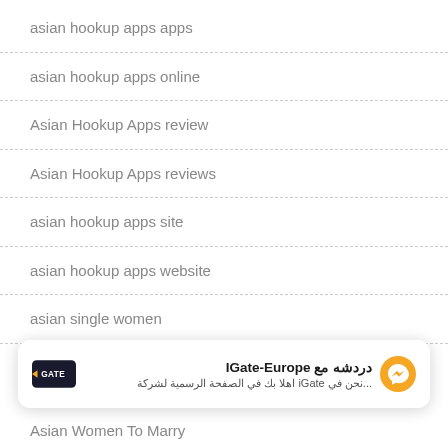asian hookup apps apps
asian hookup apps online
Asian Hookup Apps review
Asian Hookup Apps reviews
asian hookup apps site
asian hookup apps website
asian single women
asian tinder app
[Figure (screenshot): Chat widget for IGate-Europe with logo, Arabic text saying 'دردشة مع IGate-Europe' (Chat with IGate-Europe) and subtitle 'نحن في iGate اهلا بك في الصفحة الرسمية لشركة...' with a Messenger icon]
Asian Women To Marry